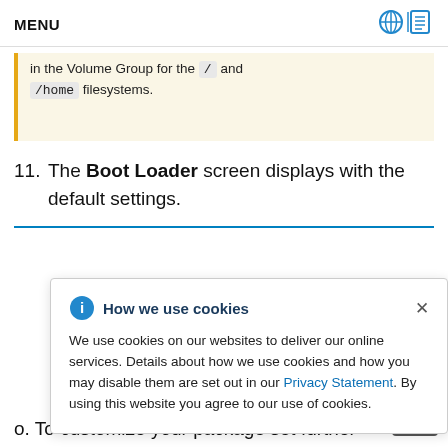MENU
in the Volume Group for the / and /home filesystems.
11. The Boot Loader screen displays with the default settings.
We use cookies on our websites to deliver our online services. Details about how we use cookies and how you may disable them are set out in our Privacy Statement. By using this website you agree to our use of cookies.
o. To customize your package set further